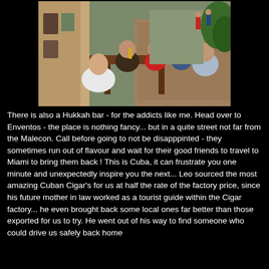[Figure (photo): Group of people sitting around an outdoor restaurant table on a cobblestone street, raising drinks in a toast. A narrow European-style alley with trees and a person walking in the background.]
There is also a Hukkah bar - for the addicts like me. Head over to Enventos - the place is nothing fancy... but in a quite street not far from the Malecon. Call before going to not be disapppinted - they sometimes run out of flavour and wait for their good friends to travel to Miami to bring them back ! This is Cuba, it can frustrate you one minute and unexpectedly inspire you the next... Leo sourced the most amazing Cuban Cigar's for us at half the rate of the factory price, since his future mother in law worked as a tourist guide within the Cigar factory... he even brought back some local ones far better than those exported for us to try. He went out of his way to find someone who could drive us safely back home